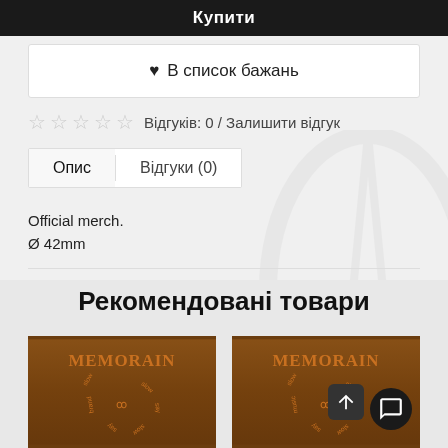Купити
♥ В список бажань
☆ ☆ ☆ ☆ ☆ Відгуків: 0 / Залишити відгук
Опис   Відгуки (0)
Official merch.
Ø 42mm
Рекомендовані товари
[Figure (photo): MEMORAIN album/merch image - wooden texture with circular text]
[Figure (photo): MEMORAIN album/merch image - wooden texture with circular text, second product]